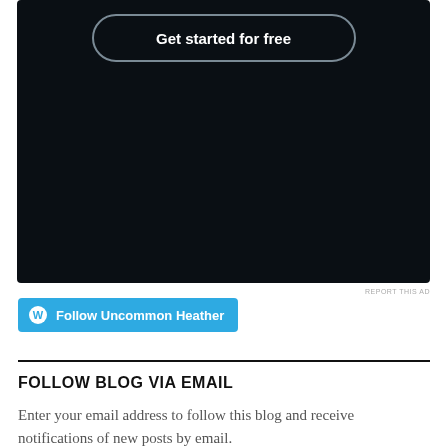[Figure (screenshot): Dark/black promotional box with a 'Get started for free' button with rounded pill border in white text on dark background]
REPORT THIS AD
[Figure (other): Blue 'Follow Uncommon Heather' button with WordPress logo icon]
FOLLOW BLOG VIA EMAIL
Enter your email address to follow this blog and receive notifications of new posts by email.